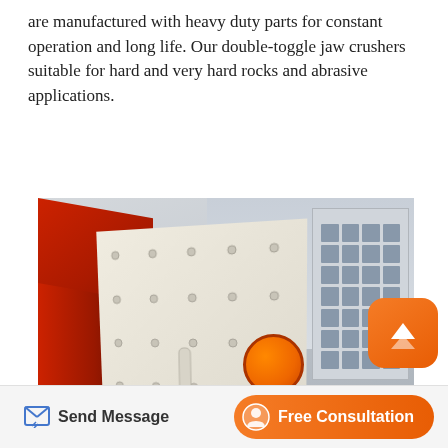are manufactured with heavy duty parts for constant operation and long life. Our double-toggle jaw crushers suitable for hard and very hard rocks and abrasive applications.
[Figure (photo): Close-up photograph of heavy industrial mining/crushing equipment (jaw crusher or vibrating screen) showing a large cream/beige colored metal panel with bolts, red painted steel beams and frame structure visible on the left, an orange circular drum/flywheel mounted on the panel, and a multi-story white building visible in the background under an overcast sky.]
Send Message
Free Consultation